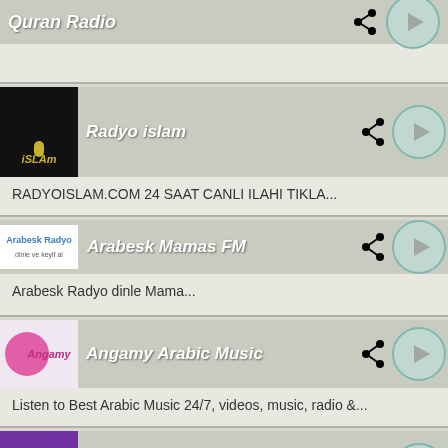Quran Radio
Radyo islam
RADYOISLAM.COM 24 SAAT CANLI ILAHI TIKLA...
Arabesk Mamas FM
Arabesk Radyo dinle Mama...
Angamy Arabic Music
Listen to Best Arabic Music 24/7, videos, music, radio &...
Radio Delta Lebanon
Radio Delta was established in 1982 by Mr. Rony Njeim. It was among the 1st radio stations in Lebanon